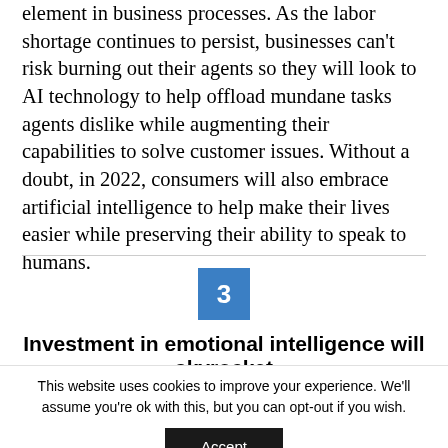element in business processes. As the labor shortage continues to persist, businesses can't risk burning out their agents so they will look to AI technology to help offload mundane tasks agents dislike while augmenting their capabilities to solve customer issues. Without a doubt, in 2022, consumers will also embrace artificial intelligence to help make their lives easier while preserving their ability to speak to humans.
3
Investment in emotional intelligence will skyrocket
This website uses cookies to improve your experience. We'll assume you're ok with this, but you can opt-out if you wish.
Accept